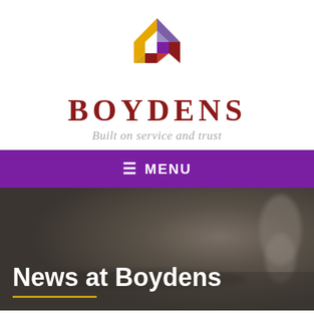[Figure (logo): Boydens logo: geometric house shape made of colorful quadrilateral pieces in gold, purple, white, dark red, forming a stylized house/diamond motif]
BOYDENS
Built on service and trust
≡ MENU
[Figure (photo): Blurred background photo of a dark, moody interior scene suggesting a domestic or office setting]
News at Boydens